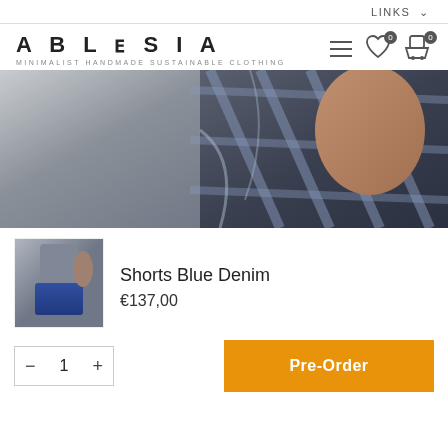LINKS ∨
[Figure (logo): ABLESIA brand logo with tagline MINIMALIST HANDMADE SUSTAINABLE CLOTHING]
[Figure (photo): Close-up photo of person wearing a blue checkered/plaid fabric garment, showing arm and torso detail]
[Figure (photo): Thumbnail of person wearing blue denim shorts]
Shorts Blue Denim
€137,00
− 1 +
Pre-Order